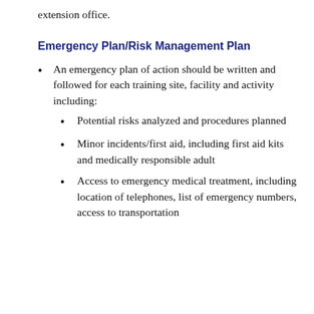extension office.
Emergency Plan/Risk Management Plan
An emergency plan of action should be written and followed for each training site, facility and activity including:
Potential risks analyzed and procedures planned
Minor incidents/first aid, including first aid kits and medically responsible adult
Access to emergency medical treatment, including location of telephones, list of emergency numbers, access to transportation